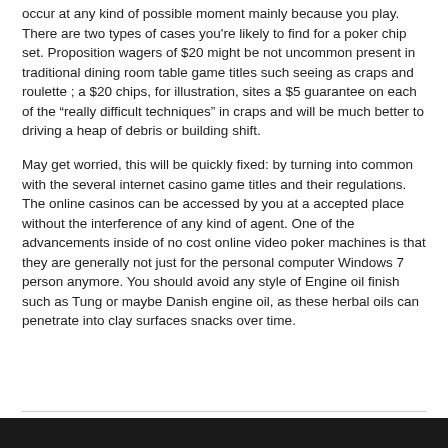occur at any kind of possible moment mainly because you play. There are two types of cases you're likely to find for a poker chip set. Proposition wagers of $20 might be not uncommon present in traditional dining room table game titles such seeing as craps and roulette ; a $20 chips, for illustration, sites a $5 guarantee on each of the “really difficult techniques” in craps and will be much better to driving a heap of debris or building shift.
May get worried, this will be quickly fixed: by turning into common with the several internet casino game titles and their regulations. The online casinos can be accessed by you at a accepted place without the interference of any kind of agent. One of the advancements inside of no cost online video poker machines is that they are generally not just for the personal computer Windows 7 person anymore. You should avoid any style of Engine oil finish such as Tung or maybe Danish engine oil, as these herbal oils can penetrate into clay surfaces snacks over time.